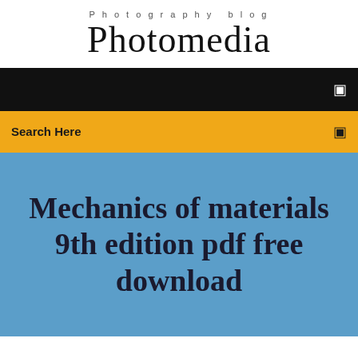Photography blog
Photomedia
☰
Search Here
☰
Mechanics of materials 9th edition pdf free download